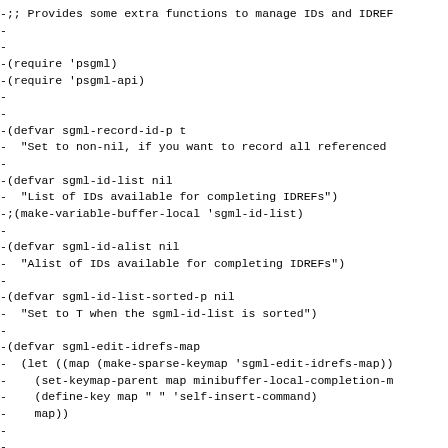-;; Provides some extra functions to manage IDs and IDREF
-
-
-(require 'psgml)
-(require 'psgml-api)
-
-
-(defvar sgml-record-id-p t
-  "Set to non-nil, if you want to record all referenced
-
-(defvar sgml-id-list nil
-  "List of IDs available for completing IDREFs")
-;(make-variable-buffer-local 'sgml-id-list)
-
-(defvar sgml-id-alist nil
-  "Alist of IDs available for completing IDREFs")
-
-(defvar sgml-id-list-sorted-p nil
-  "Set to T when the sgml-id-list is sorted")
-
-(defvar sgml-edit-idrefs-map
-  (let ((map (make-sparse-keymap 'sgml-edit-idrefs-map))
-    (set-keymap-parent map minibuffer-local-completion-m
-    (define-key map " " 'self-insert-command)
-    map))
-
-
-(defun sgml-id-list ()
-  (unless sgml-id-list-sorted-p
-    (setq sgml-id-list (sort sgml-id-list #'string-lessp